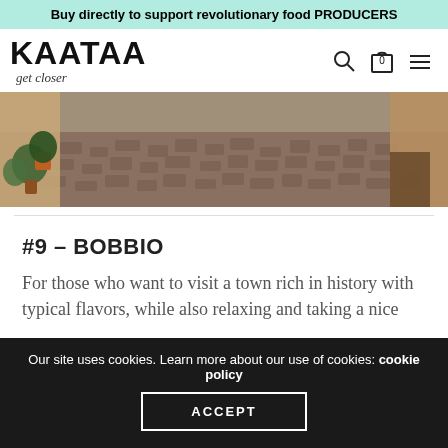Buy directly to support revolutionary food PRODUCERS
[Figure (logo): KAATAA logo with tagline 'get closer']
[Figure (photo): Hero banner image showing a cobblestone street with potted plants and old buildings]
#9 – BOBBIO
For those who want to visit a town rich in history with typical flavors, while also relaxing and taking a nice
Our site uses cookies. Learn more about our use of cookies: cookie policy
ACCEPT